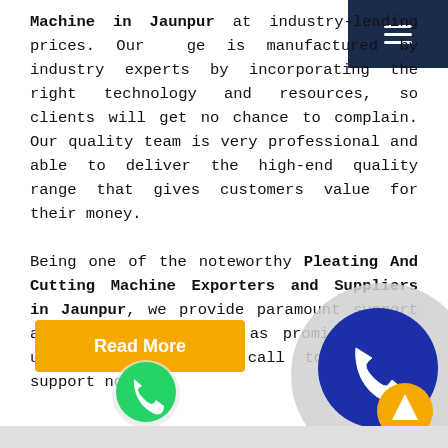Machine in Jaunpur at industry-leading prices. Our range is manufactured by industry experts by incorporating the right technology and resources, so clients will get no chance to complain. Our quality team is very professional and able to deliver the high-end quality range that gives customers value for their money.

Being one of the noteworthy Pleating And Cutting Machine Exporters and Suppliers in Jaunpur, we provide paramount support and doorstep delivery as promised. Send us your enquiry or call to get our support now.
[Figure (illustration): Orange 'Read More' button]
[Figure (logo): WhatsApp green circle icon]
[Figure (illustration): Large grey circle with blue phone icon in center]
[Figure (illustration): Orange circle with white up arrow (scroll to top button)]